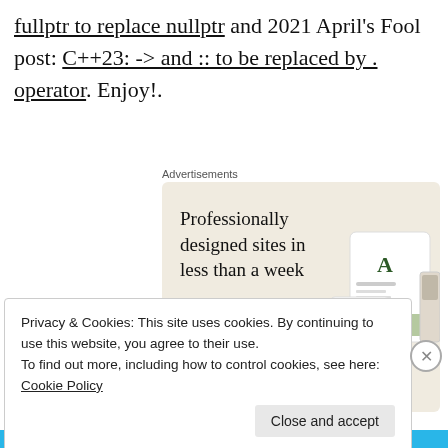fullptr to replace nullptr and 2021 April's Fool post: C++23: -> and :: to be replaced by . operator. Enjoy!.
Advertisements
[Figure (illustration): Advertisement banner: 'Professionally designed sites in less than a week' with a green 'Explore options' button and mockup screenshots on a beige background.]
Privacy & Cookies: This site uses cookies. By continuing to use this website, you agree to their use.
To find out more, including how to control cookies, see here: Cookie Policy